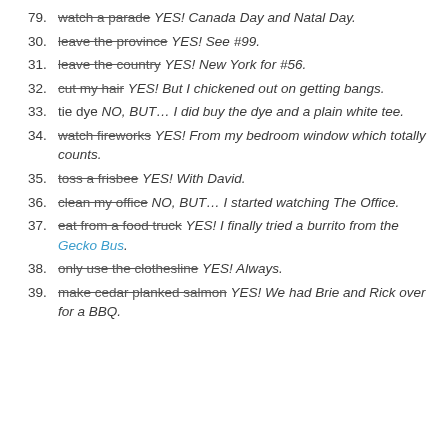79. watch a parade YES! Canada Day and Natal Day.
30. leave the province YES! See #99.
31. leave the country YES! New York for #56.
32. cut my hair YES! But I chickened out on getting bangs.
33. tie dye NO, BUT… I did buy the dye and a plain white tee.
34. watch fireworks YES! From my bedroom window which totally counts.
35. toss a frisbee YES! With David.
36. clean my office NO, BUT… I started watching The Office.
37. eat from a food truck YES! I finally tried a burrito from the Gecko Bus.
38. only use the clothesline YES! Always.
39. make cedar planked salmon YES! We had Brie and Rick over for a BBQ.